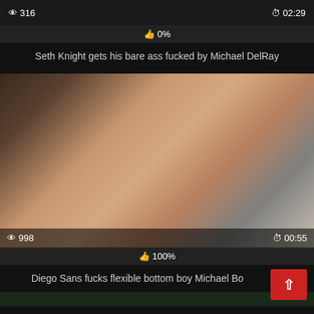👁 316   ⏱ 02:29
👍 0%
Seth Knight gets his bare ass fucked by Michael DelRay
[Figure (photo): Two men on a grey couch in an explicit sexual scenario, indoor setting with bookshelf and abstract painting in background]
👁 998   ⏱ 00:55
👍 100%
Diego Sans fucks flexible bottom boy Michael Bo...